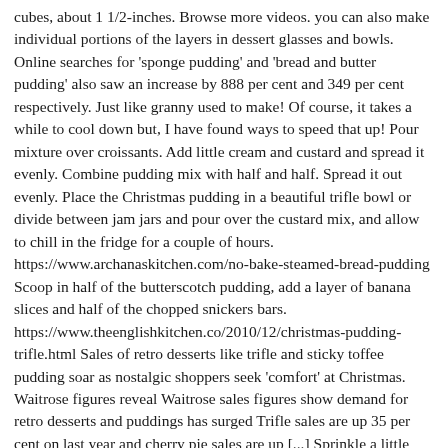cubes, about 1 1/2-inches. Browse more videos. you can also make individual portions of the layers in dessert glasses and bowls. Online searches for 'sponge pudding' and 'bread and butter pudding' also saw an increase by 888 per cent and 349 per cent respectively. Just like granny used to make! Of course, it takes a while to cool down but, I have found ways to speed that up! Pour mixture over croissants. Add little cream and custard and spread it evenly. Combine pudding mix with half and half. Spread it out evenly. Place the Christmas pudding in a beautiful trifle bowl or divide between jam jars and pour over the custard mix, and allow to chill in the fridge for a couple of hours. https://www.archanaskitchen.com/no-bake-steamed-bread-pudding Scoop in half of the butterscotch pudding, add a layer of banana slices and half of the chopped snickers bars. https://www.theenglishkitchen.co/2010/12/christmas-pudding-trifle.html Sales of retro desserts like trifle and sticky toffee pudding soar as nostalgic shoppers seek 'comfort' at Christmas. Waitrose figures reveal Waitrose sales figures show demand for retro desserts and puddings has surged Trifle sales are up 35 per cent on last year and cherry pie sales are up [...] Sprinkle a little sugar water over the slices. Filter the boiled apple water and set aside. Boil the rest of the milk and add the made custard powder mixture to the boiled milk. Learn how to make this yummy pudding...